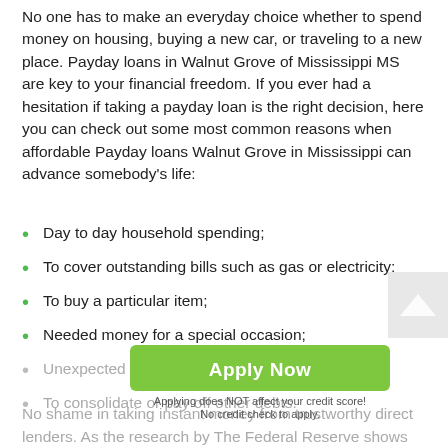No one has to make an everyday choice whether to spend money on housing, buying a new car, or traveling to a new place. Payday loans in Walnut Grove of Mississippi MS are key to your financial freedom. If you ever had a hesitation if taking a payday loan is the right decision, here you can check out some most common reasons when affordable Payday loans Walnut Grove in Mississippi can advance somebody's life:
Day to day household spending;
To cover outstanding bills such as gas or electricity;
To buy a particular item;
Needed money for a special occasion;
Unexpected medical bills;
To consolidate or pay off other debts.
No shame in taking instant money from trustworthy direct lenders. As the research by The Federal Reserve shows